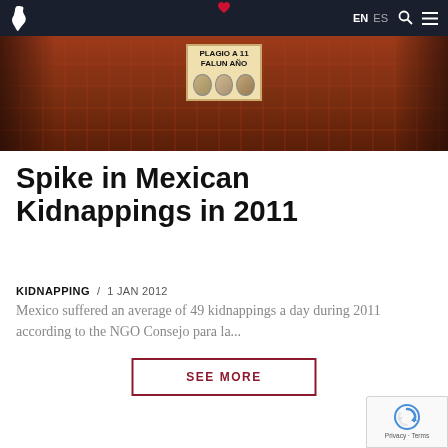EN ES
[Figure (photo): News article hero image showing a sign or poster with text 'PLAGIO A 11 FALUN ANO' with photos of individuals, set against a reddish-brown background]
Spike in Mexican Kidnappings in 2011
KIDNAPPING / 1 JAN 2012
Mexico suffered an average of 49 kidnappings a day during 2011 according to the NGO Consejo para la...
SEE MORE